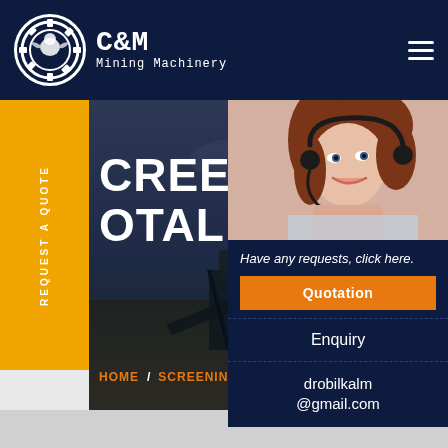[Figure (logo): C&M Mining Machinery logo with circular gear/eagle emblem on dark navy header bar]
[Figure (photo): Mining site aerial view with industrial equipment, dark overlay, hero section with large white text 'SCREENING AREA TOTAL' and orange breadcrumb 'HOME / SCREENING AREA TO']
[Figure (photo): Customer service representative woman with headset smiling, in right panel]
Have any requests, click here.
Quotation
Enquiry
drobilkalm@gmail.com
REQUEST A QUOTE